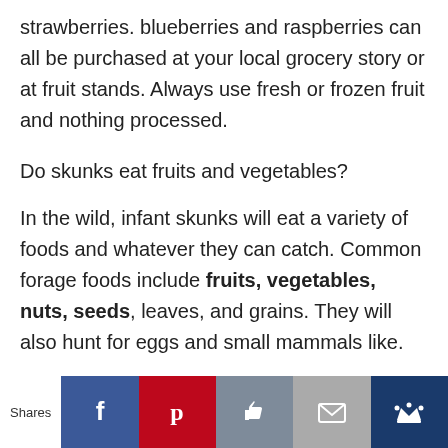strawberries. blueberries and raspberries can all be purchased at your local grocery story or at fruit stands. Always use fresh or frozen fruit and nothing processed.
Do skunks eat fruits and vegetables?
In the wild, infant skunks will eat a variety of foods and whatever they can catch. Common forage foods include fruits, vegetables, nuts, seeds, leaves, and grains. They will also hunt for eggs and small mammals like.
Shares | Facebook | Pinterest | Like | Mail | Crown